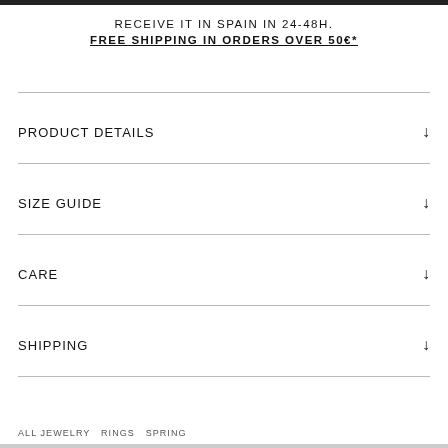RECEIVE IT IN SPAIN IN 24-48H.
FREE SHIPPING IN ORDERS OVER 50€*
PRODUCT DETAILS
SIZE GUIDE
CARE
SHIPPING
ALL JEWELRY  RINGS  SPRING